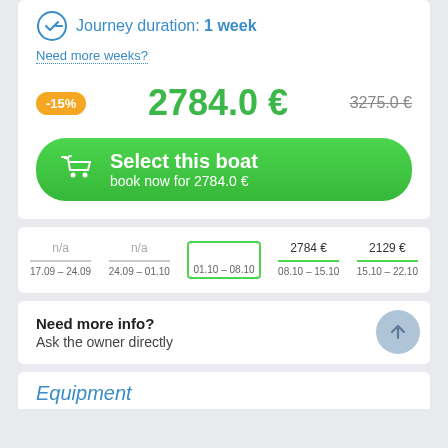Journey duration: 1 week
Need more weeks?
-15%
2784.0 €
3275.0 €
Select this boat
book now for 2784.0 €
| n/a | n/a | 01.10 – 08.10 | 2784 € | 2129 € |
| 17.09 – 24.09 | 24.09 – 01.10 | 01.10 – 08.10 | 08.10 – 15.10 | 15.10 – 22.10 |
Need more info?
Ask the owner directly
Equipment